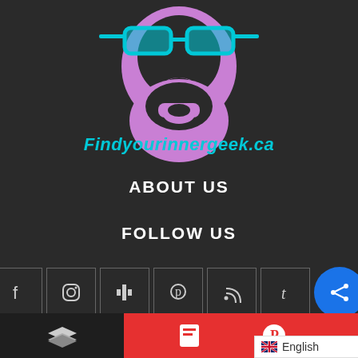[Figure (logo): Stylized face logo with cyan glasses and purple beard on dark background, website logo for Findyourinnergeek.ca]
Findyourinnergeek.ca
ABOUT US
FOLLOW US
[Figure (infographic): Row of social media icon buttons: Facebook, Instagram, Mixer/Myspace, Pinterest, RSS, Tumblr, and a blue share button]